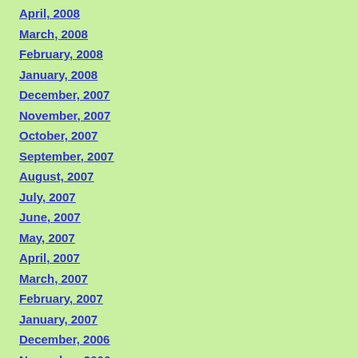April, 2008
March, 2008
February, 2008
January, 2008
December, 2007
November, 2007
October, 2007
September, 2007
August, 2007
July, 2007
June, 2007
May, 2007
April, 2007
March, 2007
February, 2007
January, 2007
December, 2006
November, 2006
October, 2006
September, 2006
August, 2006
July, 2006